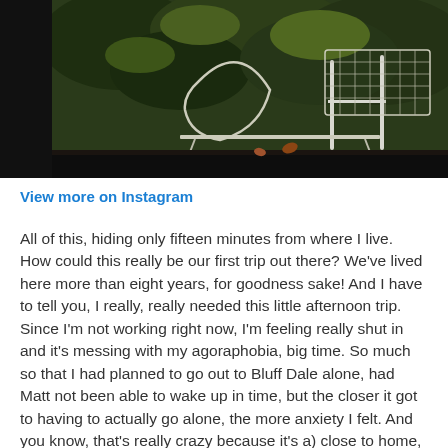[Figure (photo): Outdoor photo showing metal wire chairs/furniture and lush green foliage in the background, with dark tones and warm vintage feel]
View more on Instagram
All of this, hiding only fifteen minutes from where I live. How could this really be our first trip out there? We've lived here more than eight years, for goodness sake! And I have to tell you, I really, really needed this little afternoon trip. Since I'm not working right now, I'm feeling really shut in and it's messing with my agoraphobia, big time. So much so that I had planned to go out to Bluff Dale alone, had Matt not been able to wake up in time, but the closer it got to having to actually go alone, the more anxiety I felt. And you know, that's really crazy because it's a) close to home, and b) I wasn't exactly going to be among strangers. At least, not all strangers. So, taking a little trip, with Matt, was a breath of